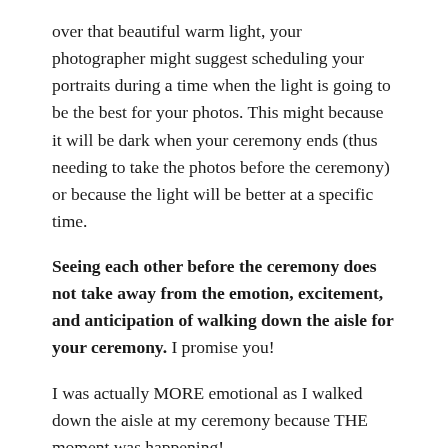over that beautiful warm light, your photographer might suggest scheduling your portraits during a time when the light is going to be the best for your photos. This might because it will be dark when your ceremony ends (thus needing to take the photos before the ceremony) or because the light will be better at a specific time.
Seeing each other before the ceremony does not take away from the emotion, excitement, and anticipation of walking down the aisle for your ceremony. I promise you!
I was actually MORE emotional as I walked down the aisle at my ceremony because THE moment was happening!